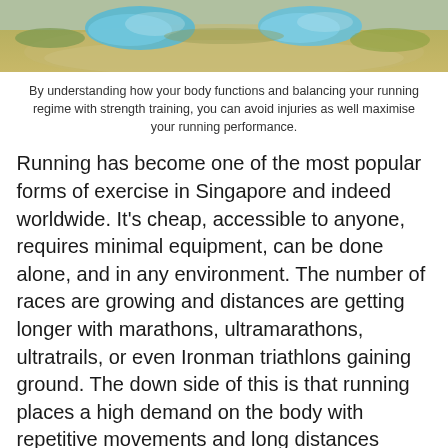[Figure (photo): Running shoes on rocky outdoor terrain with grass background, cropped to show bottom portion of image]
By understanding how your body functions and balancing your running regime with strength training, you can avoid injuries as well maximise your running performance.
Running has become one of the most popular forms of exercise in Singapore and indeed worldwide. It's cheap, accessible to anyone, requires minimal equipment, can be done alone, and in any environment. The number of races are growing and distances are getting longer with marathons, ultramarathons, ultratrails, or even Ironman triathlons gaining ground. The down side of this is that running places a high demand on the body with repetitive movements and long distances putting you at a higher risk for injury. Some of the most common injuries amongst runners that cause unnecessary pain and limit